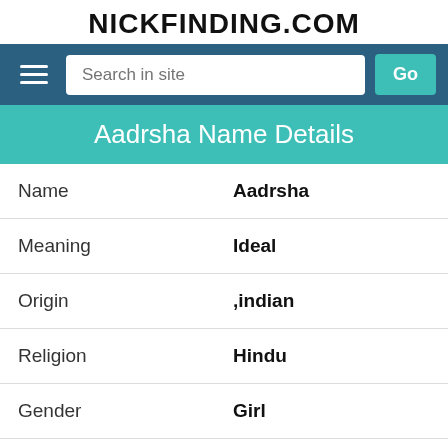NICKFINDING.COM
[Figure (screenshot): Navigation bar with hamburger menu, search box, and Go button on dark blue background]
Aadrsha Name Details
| Name | Aadrsha |
| Meaning | Ideal |
| Origin | ,indian |
| Religion | Hindu |
| Gender | Girl |
| Lucky Number | 7 |